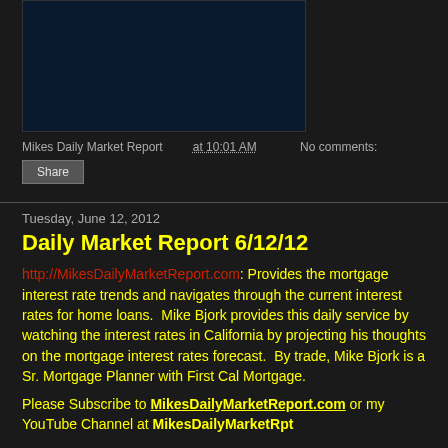[Figure (screenshot): Dark blue/navy video thumbnail with text overlay showing website URL and description]
Mikes Daily Market Report at 10:01 AM    No comments:
Share
Tuesday, June 12, 2012
Daily Market Report 6/12/12
http://MikesDailyMarketReport.com: Provides the mortgage interest rate trends and navigates through the current interest rates for home loans.  Mike Bjork provides this daily service by watching the interest rates in California by projecting his thoughts on the mortgage interest rates forecast.  By trade, Mike Bjork is a Sr. Mortgage Planner with First Cal Mortgage.
Please Subscribe to MikesDailyMarketReport.com or my YouTube Channel at MikesDailyMarketRpt